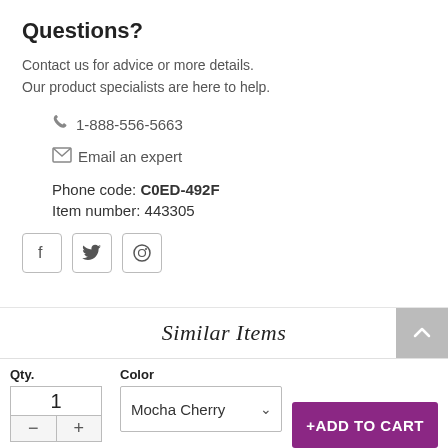Questions?
Contact us for advice or more details.
Our product specialists are here to help.
1-888-556-5663
Email an expert
Phone code: C0ED-492F
Item number: 443305
[Figure (other): Social media share icons: Facebook, Twitter, Pinterest]
Similar Items
Qty.
Color
+ADD TO CART